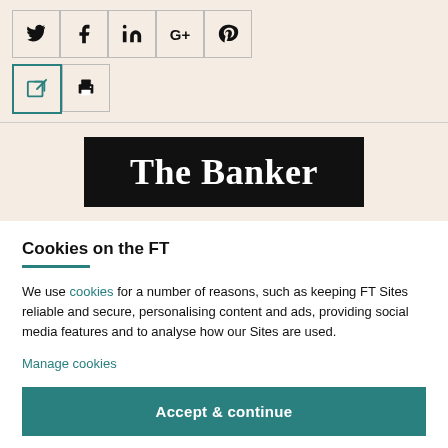[Figure (screenshot): Social media sharing icon buttons: Twitter, Facebook, LinkedIn, Google+, Pinterest in bordered boxes, plus a share/external link icon and a print icon]
[Figure (logo): The Banker logo — white serif text on black background]
Cookies on the FT
We use cookies for a number of reasons, such as keeping FT Sites reliable and secure, personalising content and ads, providing social media features and to analyse how our Sites are used.
Manage cookies
Accept & continue